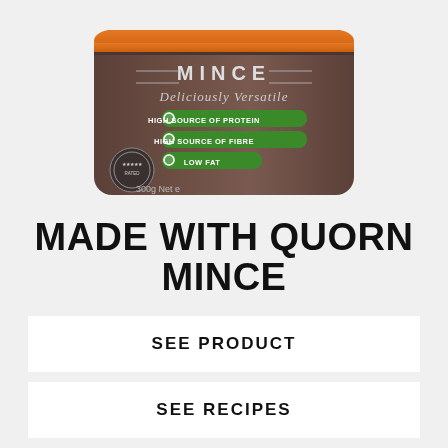[Figure (photo): Quorn Mince product package - brown/dark packaging labeled MINCE Deliciously Versatile, with green bullet point claims, 300g Net, shown partially cropped at top of page]
MADE WITH QUORN MINCE
SEE PRODUCT
SEE RECIPES
[Figure (illustration): Three orange icons: a water droplet with percent symbol, a lightning bolt, and a plant/leaf icon]